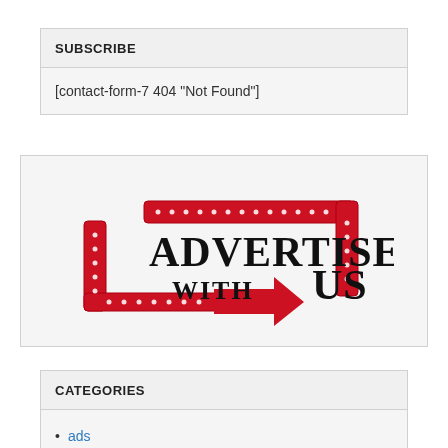SUBSCRIBE
[contact-form-7 404 "Not Found"]
[Figure (illustration): Advertise With Us banner logo with red marquee-style arrow border and dotted lights decoration, black stylized text reading ADVERTISE WITH US]
CATEGORIES
ads
Aliyah